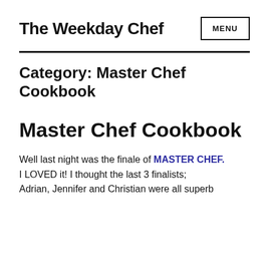The Weekday Chef
Category: Master Chef Cookbook
Master Chef Cookbook
Well last night was the finale of MASTER CHEF.  I LOVED it! I thought the last 3 finalists; Adrian, Jennifer and Christian were all superb